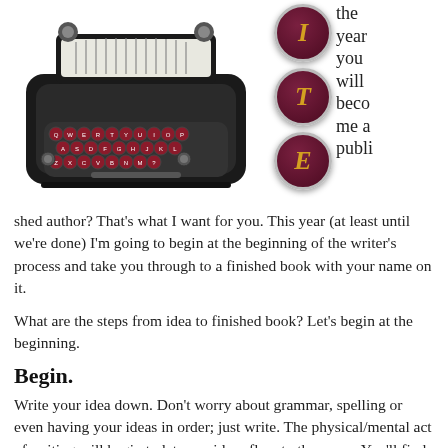[Figure (illustration): Vintage typewriter illustration on the left side, with three dark maroon circular badges on the right showing the letters I, T, and E in gold italic font, accompanied by text reading 'the year you will become a published']
shed author? That's what I want for you. This year (at least until we're done) I'm going to begin at the beginning of the writer's process and take you through to a finished book with your name on it.
What are the steps from idea to finished book? Let's begin at the beginning.
Begin.
Write your idea down. Don't worry about grammar, spelling or even having your ideas in order; just write. The physical/mental act of writing will begin to let your ideas flow to the paper. You'll find that